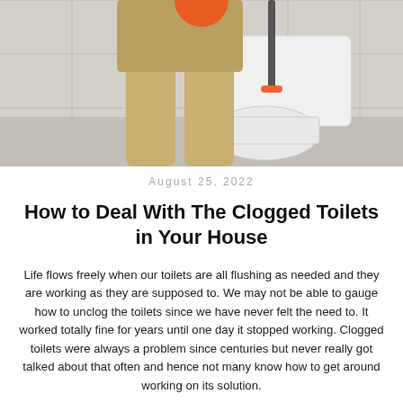[Figure (photo): Person working on a toilet, plumber or homeowner leaning over a toilet bowl with tools in a tiled bathroom]
August 25, 2022
How to Deal With The Clogged Toilets in Your House
Life flows freely when our toilets are all flushing as needed and they are working as they are supposed to. We may not be able to gauge how to unclog the toilets since we have never felt the need to. It worked totally fine for years until one day it stopped working. Clogged toilets were always a problem since centuries but never really got talked about that often and hence not many know how to get around working on its solution.